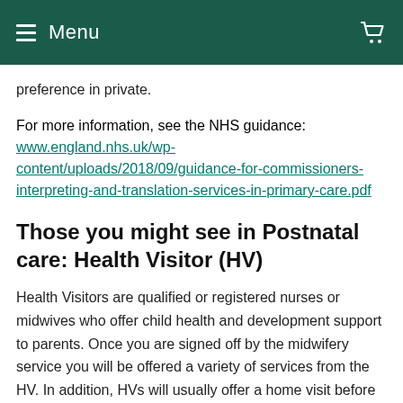Menu
preference in private.
For more information, see the NHS guidance: www.england.nhs.uk/wp-content/uploads/2018/09/guidance-for-commissioners-interpreting-and-translation-services-in-primary-care.pdf
Those you might see in Postnatal care: Health Visitor (HV)
Health Visitors are qualified or registered nurses or midwives who offer child health and development support to parents. Once you are signed off by the midwifery service you will be offered a variety of services from the HV. In addition, HVs will usually offer a home visit before your baby is born to introduce themselves and to talk through any questions that you might have about caring